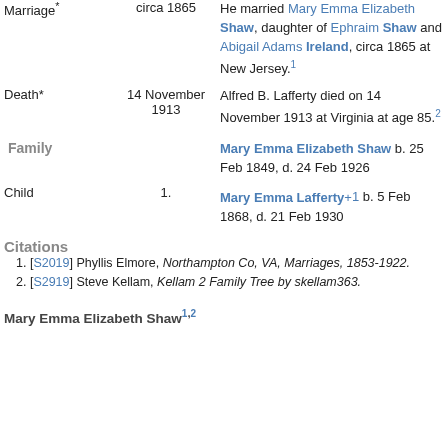| Event | Date | Description |
| --- | --- | --- |
| Marriage* | circa 1865 | He married Mary Emma Elizabeth Shaw, daughter of Ephraim Shaw and Abigail Adams Ireland, circa 1865 at New Jersey.[1] |
| Death* | 14 November 1913 | Alfred B. Lafferty died on 14 November 1913 at Virginia at age 85.[2] |
| Family |  | Mary Emma Elizabeth Shaw b. 25 Feb 1849, d. 24 Feb 1926 |
| Child | 1. | Mary Emma Lafferty+[1] b. 5 Feb 1868, d. 21 Feb 1930 |
Citations
1. [S2019] Phyllis Elmore, Northampton Co, VA, Marriages, 1853-1922.
2. [S2919] Steve Kellam, Kellam 2 Family Tree by skellam363.
Mary Emma Elizabeth Shaw1,2